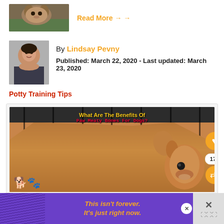[Figure (photo): Thumbnail image of a tiger or cat on rocks]
Read More →
[Figure (photo): Author photo of Lindsay Pevny, a woman with dark hair]
By Lindsay Pevny
Published: March 22, 2020 - Last updated: March 23, 2020
Potty Training Tips
[Figure (photo): Video thumbnail showing a Chihuahua dog in a cage with text overlay: 'What Are The Benefits Of Paw Meaty Bones For Dogs?' — with heart (170) and share buttons on the right side]
What Are The Benefits Of Paw Meaty Bones For Dogs?
This isn't forever. It's just right now.